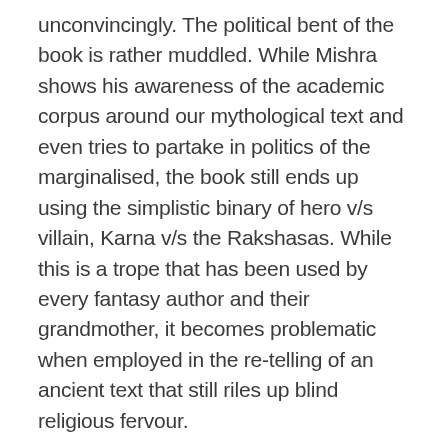unconvincingly. The political bent of the book is rather muddled. While Mishra shows his awareness of the academic corpus around our mythological text and even tries to partake in politics of the marginalised, the book still ends up using the simplistic binary of hero v/s villain, Karna v/s the Rakshasas. While this is a trope that has been used by every fantasy author and their grandmother, it becomes problematic when employed in the re-telling of an ancient text that still riles up blind religious fervour.
The portrayal of Mili, Karna's girlfriend and the only live female character in the book, is another problematic area. Mili's portrayal suffers from a severe case of patriarchal